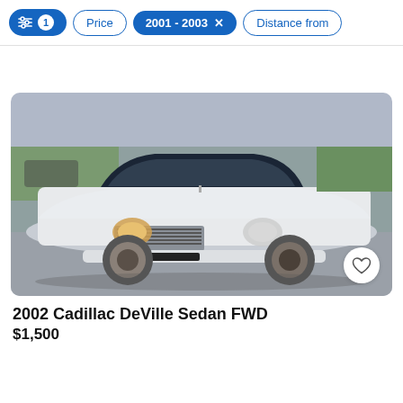Filters: 1 active | Price | 2001 - 2003 × | Distance from
[Figure (photo): Front view of a white 2002 Cadillac DeVille Sedan FWD parked in a lot, with a heart/favorite button in the bottom right corner of the image]
2002 Cadillac DeVille Sedan FWD
$1,500